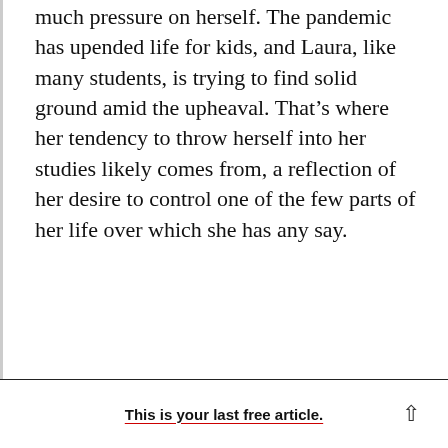much pressure on herself. The pandemic has upended life for kids, and Laura, like many students, is trying to find solid ground amid the upheaval. That's where her tendency to throw herself into her studies likely comes from, a reflection of her desire to control one of the few parts of her life over which she has any say.
Keep reading. Every Tuesday, Abby and Brian take questions from readers about their kids' education. Have one? Email them at
This is your last free article.